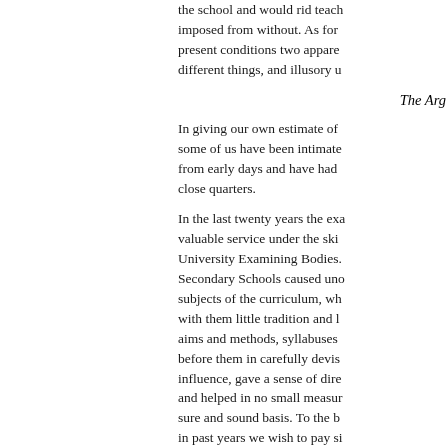the school and would rid teach imposed from without. As for present conditions two appare different things, and illusory u
The Arg
In giving our own estimate of some of us have been intimate from early days and have had close quarters.
In the last twenty years the exa valuable service under the ski University Examining Bodies. Secondary Schools caused uno subjects of the curriculum, wh with them little tradition and l aims and methods, syllabuses before them in carefully devis influence, gave a sense of dire and helped in no small measur sure and sound basis. To the b in past years we wish to pay si
Yet its very success has tende